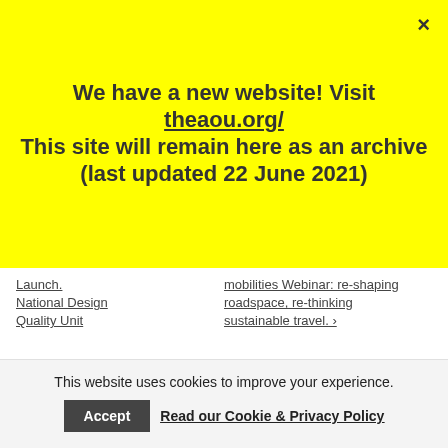We have a new website! Visit theaou.org/ This site will remain here as an archive (last updated 22 June 2021)
Launch. National Design Quality Unit
mobilities Webinar: re-shaping roadspace, re-thinking sustainable travel.
This website uses cookies to improve your experience.
Accept
Read our Cookie & Privacy Policy